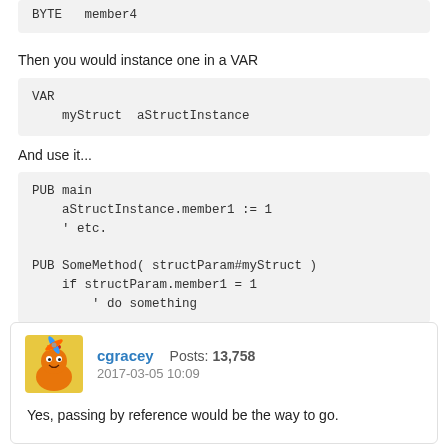BYTE   member4
Then you would instance one in a VAR
VAR
    myStruct  aStructInstance
And use it...
PUB main
    aStructInstance.member1 := 1
    ' etc.

PUB SomeMethod( structParam#myStruct )
    if structParam.member1 = 1
        ' do something
cgracey   Posts: 13,758
2017-03-05 10:09
Yes, passing by reference would be the way to go.